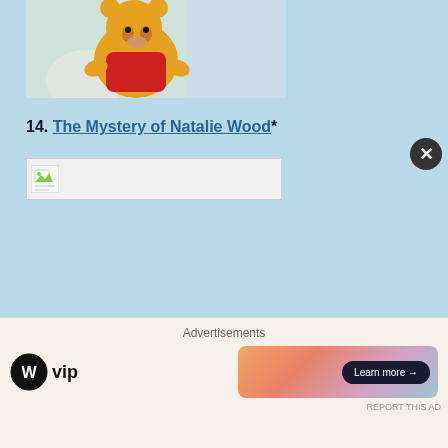[Figure (photo): Winnie the Pooh cartoon character image, partially shown at top of page]
14. The Mystery of Natalie Wood*
[Figure (photo): Broken/missing image placeholder for The Mystery of Natalie Wood]
15. The French Lieutenant's Woman
[Figure (photo): Dark photograph, partially visible, associated with The French Lieutenant's Woman]
Advertisements
[Figure (logo): WordPress VIP logo with circular W icon and 'vip' text]
[Figure (infographic): Advertisement banner with gradient background and Learn more arrow button]